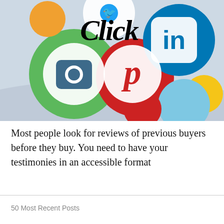[Figure (illustration): Social media icons including Twitter bird, LinkedIn 'in', Instagram camera, Pinterest 'p', and decorative colored circles (orange, green, red, blue, yellow) on a light blue-grey background, with 'Click' text overlaid in a cursive/script font.]
Most people look for reviews of previous buyers before they buy. You need to have your testimonies in an accessible format
50 Most Recent Posts